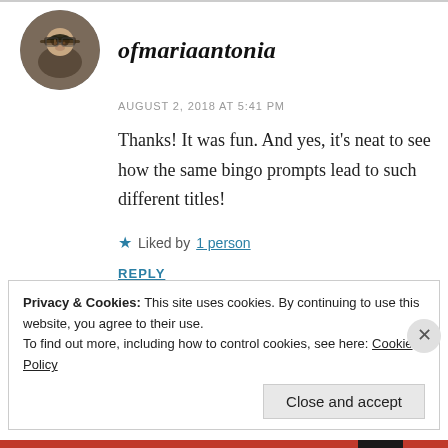[Figure (photo): Circular avatar photo of a woman with glasses, dark hair, indoors]
ofmariaantonia
AUGUST 2, 2018 AT 5:41 PM
Thanks! It was fun. And yes, it's neat to see how the same bingo prompts lead to such different titles!
★ Liked by 1 person
REPLY
Privacy & Cookies: This site uses cookies. By continuing to use this website, you agree to their use.
To find out more, including how to control cookies, see here: Cookie Policy
Close and accept